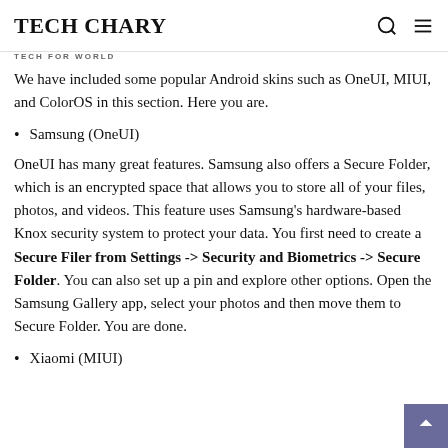TECH CHARY
TECH FOR WORLD
We have included some popular Android skins such as OneUI, MIUI, and ColorOS in this section. Here you are.
Samsung (OneUI)
OneUI has many great features. Samsung also offers a Secure Folder, which is an encrypted space that allows you to store all of your files, photos, and videos. This feature uses Samsung's hardware-based Knox security system to protect your data. You first need to create a Secure Filer from Settings -> Security and Biometrics -> Secure Folder. You can also set up a pin and explore other options. Open the Samsung Gallery app, select your photos and then move them to Secure Folder. You are done.
Xiaomi (MIUI)